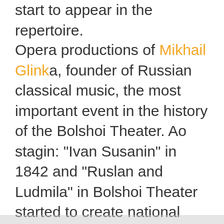start to appear in the repertoire.
Opera productions of Mikhail Glinka, founder of Russian classical music, the most important event in the history of the Bolshoi Theater. Ao stagin: "Ivan Susanin" in 1842 and "Ruslan and Ludmila" in Bolshoi Theater started to create national classical repertoire.